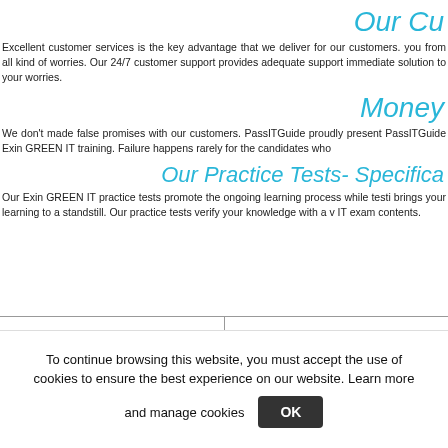Our Cu
Excellent customer services is the key advantage that we deliver for our customers. you from all kind of worries. Our 24/7 customer support provides adequate support immediate solution to your worries.
Money
We don't made false promises with our customers. PassITGuide proudly present PassITGuide Exin GREEN IT training. Failure happens rarely for the candidates who
Our Practice Tests- Specifica
Our Exin GREEN IT practice tests promote the ongoing learning process while testi brings your learning to a standstill. Our practice tests verify your knowledge with a v IT exam contents.
[Figure (logo): VeriSign Verified badge with checkmark in circle]
[Figure (logo): PayPal and Visa payment logos]
To continue browsing this website, you must accept the use of cookies to ensure the best experience on our website. Learn more and manage cookies OK